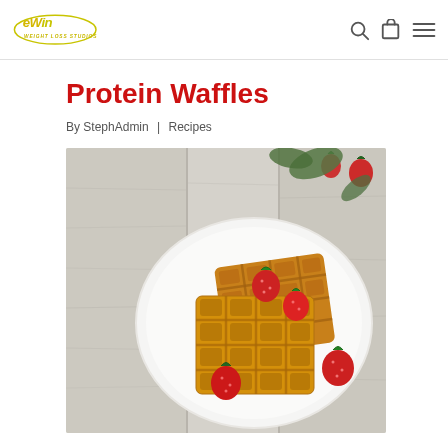eWin Weight Loss Studios — navigation header with logo, search, cart, and menu icons
Protein Waffles
By StephAdmin | Recipes
[Figure (photo): Photo of golden Belgian waffles topped with fresh strawberries on a white plate, set on a rustic whitewashed wooden table with scattered strawberries and green leaves in the background.]